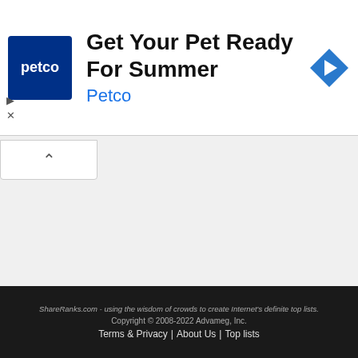[Figure (other): Petco advertisement banner: Petco logo (blue square with white 'petco' text), headline 'Get Your Pet Ready For Summer', brand name 'Petco' in blue, and a blue diamond-shaped navigation icon on the right]
People
Programming
Science
Software
Sports
Technology
Television
Travel
United States
World
ShareRanks.com - using the wisdom of crowds to create Internet's definite top lists. Copyright © 2008-2022 Advameg, Inc. Terms & Privacy | About Us | Top lists